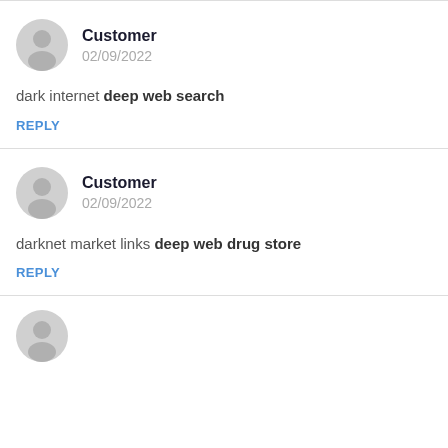Customer
02/09/2022
dark internet deep web search
REPLY
Customer
02/09/2022
darknet market links deep web drug store
REPLY